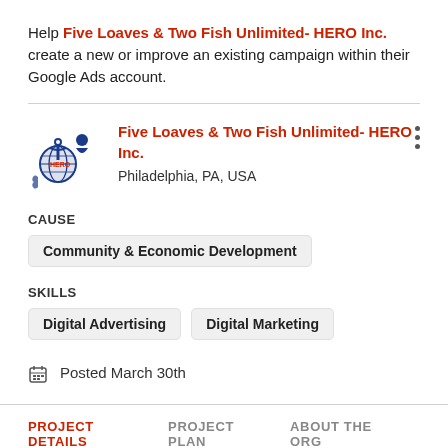Help Five Loaves & Two Fish Unlimited- HERO Inc. create a new or improve an existing campaign within their Google Ads account.
[Figure (logo): Five Loaves & Two Fish Unlimited HERO Inc. logo — blue anchor and figure with globe]
Five Loaves & Two Fish Unlimited- HERO Inc.
Philadelphia, PA, USA
CAUSE
Community & Economic Development
SKILLS
Digital Advertising
Digital Marketing
Posted March 30th
PROJECT DETAILS  PROJECT PLAN  ABOUT THE ORG